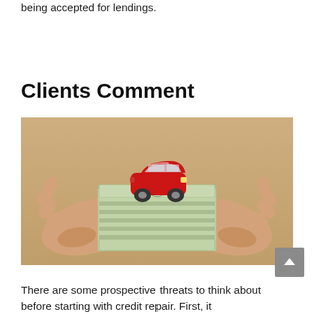being accepted for lendings.
Clients Comment
[Figure (photo): Overhead view of two hands holding a stack of US dollar bills with a red toy car placed on top, on a wooden table surface.]
There are some prospective threats to think about before starting with credit repair. First, it